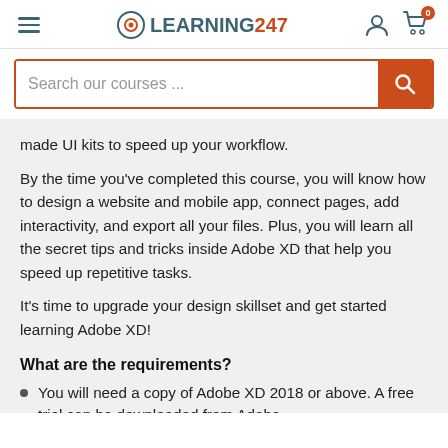LEARNING247 navigation header with hamburger menu, logo, user icon, and cart icon
Search our courses ...
made UI kits to speed up your workflow.
By the time you've completed this course, you will know how to design a website and mobile app, connect pages, add interactivity, and export all your files. Plus, you will learn all the secret tips and tricks inside Adobe XD that help you speed up repetitive tasks.
It's time to upgrade your design skillset and get started learning Adobe XD!
What are the requirements?
You will need a copy of Adobe XD 2018 or above. A free trial can be downloaded from Adobe.
No previous design experience is needed.